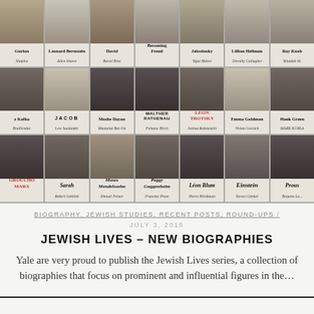[Figure (photo): Collage of book covers from the Jewish Lives biography series, arranged in three rows of seven books each. Book titles visible include: Leonard Bernstein, David, Becoming Freud, Jabotinsky, Lillian Hellman, Franz Kafka, Jacob, Moshe Dayan, Walther Rathenau, Leon Trotsky, Emma Goldman, Hank Green, Sarah, Moses Mendelssohn, Peggy Guggenheim, Léon Blum, Einstein, Proust, Groucho Marx.]
BIOGRAPHY, JEWISH STUDIES, RECENT POSTS, ROUND-UPS / JULY 3, 2015
JEWISH LIVES – NEW BIOGRAPHIES
Yale are very proud to publish the Jewish Lives series, a collection of biographies that focus on prominent and influential figures in the...